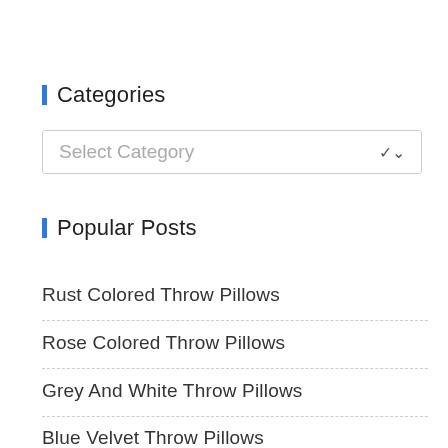Categories
[Figure (screenshot): A dropdown select box with placeholder text 'Select Category' and a chevron arrow on the right]
Popular Posts
Rust Colored Throw Pillows
Rose Colored Throw Pillows
Grey And White Throw Pillows
Blue Velvet Throw Pillows